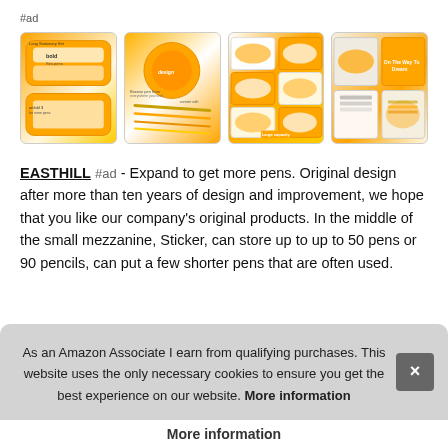#ad
[Figure (photo): Four product images of a yellow pencil case/pen organizer showing various views and configurations]
EASTHILL #ad - Expand to get more pens. Original design after more than ten years of design and improvement, we hope that you like our company's original products. In the middle of the small mezzanine, Sticker, can store up to up to 50 pens or 90 pencils, can put a few shorter pens that are often used.
Larg... larg... stat...
As an Amazon Associate I earn from qualifying purchases. This website uses the only necessary cookies to ensure you get the best experience on our website. More information
More information